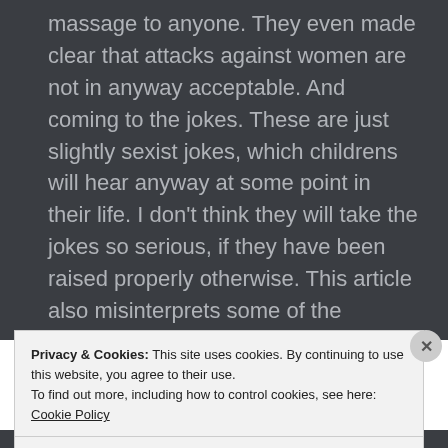massage to anyone. They even made clear that attacks against women are not in anyway acceptable. And coming to the jokes. These are just slightly sexist jokes, which childrens will hear anyway at some point in their life. I don't think they will take the jokes so serious, if they have been raised properly otherwise. This article also misinterprets some of the dialoges horribly. For example Nr.3. In the movies context, he just meant
Privacy & Cookies: This site uses cookies. By continuing to use this website, you agree to their use.
To find out more, including how to control cookies, see here: Cookie Policy
Close and accept